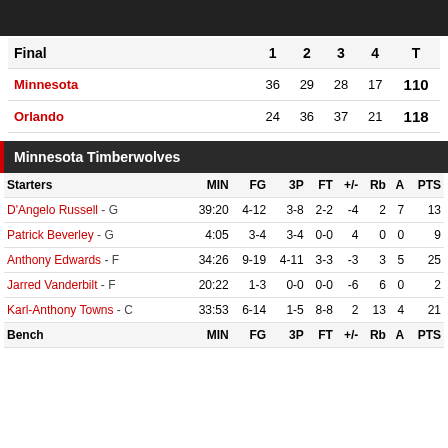| Final | 1 | 2 | 3 | 4 | T |
| --- | --- | --- | --- | --- | --- |
| Minnesota | 36 | 29 | 28 | 17 | 110 |
| Orlando | 24 | 36 | 37 | 21 | 118 |
Minnesota Timberwolves
| Starters | MIN | FG | 3P | FT | +/- | Rb | A | PTS |
| --- | --- | --- | --- | --- | --- | --- | --- | --- |
| D'Angelo Russell - G | 39:20 | 4-12 | 3-8 | 2-2 | -4 | 2 | 7 | 13 |
| Patrick Beverley - G | 4:05 | 3-4 | 3-4 | 0-0 | 4 | 0 | 0 | 9 |
| Anthony Edwards - F | 34:26 | 9-19 | 4-11 | 3-3 | -3 | 3 | 5 | 25 |
| Jarred Vanderbilt - F | 20:22 | 1-3 | 0-0 | 0-0 | -6 | 6 | 0 | 2 |
| Karl-Anthony Towns - C | 33:53 | 6-14 | 1-5 | 8-8 | 2 | 13 | 4 | 21 |
| Bench | MIN | FG | 3P | FT | +/- | Rb | A | PTS |